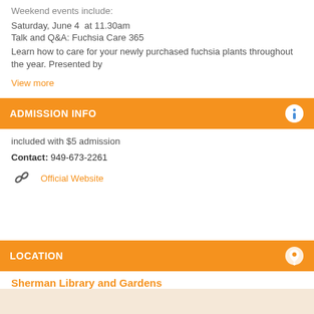Weekend events include:
Saturday, June 4  at 11.30am
Talk and Q&A: Fuchsia Care 365
Learn how to care for your newly purchased fuchsia plants throughout the year. Presented by
View more
ADMISSION INFO
included with $5 admission
Contact: 949-673-2261
Official Website
LOCATION
Sherman Library and Gardens